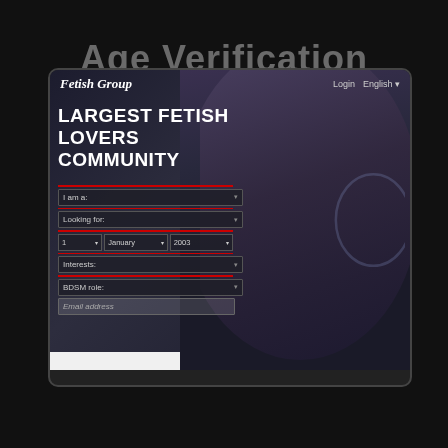Age Verification
[Figure (screenshot): Screenshot of a website called 'Fetish Group' showing a dark-themed adult dating/community site with the headline 'LARGEST FETISH LOVERS COMMUNITY' and a registration form with fields for 'I am a:', 'Looking for:', date (1 January 2003), 'Interests:', 'BDSM role:', and 'Email address'. The site displays a background image of a woman wearing a leather mask. Displayed on a monitor frame.]